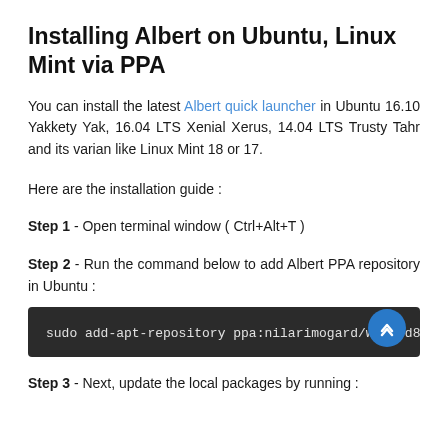Installing Albert on Ubuntu, Linux Mint via PPA
You can install the latest Albert quick launcher in Ubuntu 16.10 Yakkety Yak, 16.04 LTS Xenial Xerus, 14.04 LTS Trusty Tahr and its varian like Linux Mint 18 or 17.
Here are the installation guide :
Step 1 - Open terminal window ( Ctrl+Alt+T )
Step 2 - Run the command below to add Albert PPA repository in Ubuntu :
sudo add-apt-repository ppa:nilarimogard/webupd8
Step 3 - Next, update the local packages by running :